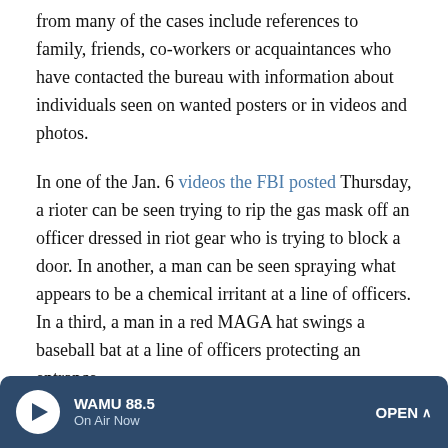from many of the cases include references to family, friends, co-workers or acquaintances who have contacted the bureau with information about individuals seen on wanted posters or in videos and photos.
In one of the Jan. 6 videos the FBI posted Thursday, a rioter can be seen trying to rip the gas mask off an officer dressed in riot gear who is trying to block a door. In another, a man can be seen spraying what appears to be a chemical irritant at a line of officers. In a third, a man in a red MAGA hat swings a baseball bat at a line of officers protecting an entrance.
D'Antuono said the tips from the public so far have been a "tremendous help" in the FBI's investigation, and he
WAMU 88.5 On Air Now OPEN